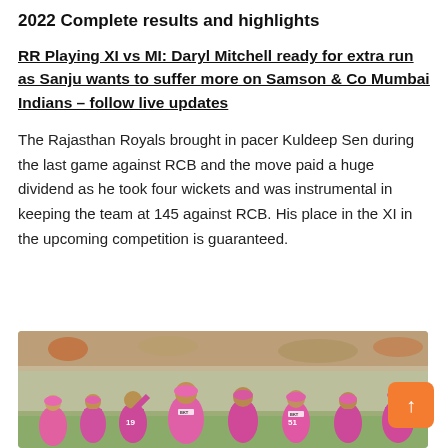2022 Complete results and highlights
RR Playing XI vs MI: Daryl Mitchell ready for extra run as Sanju wants to suffer more on Samson & Co Mumbai Indians – follow live updates
The Rajasthan Royals brought in pacer Kuldeep Sen during the last game against RCB and the move paid a huge dividend as he took four wickets and was instrumental in keeping the team at 145 against RCB. His place in the XI in the upcoming competition is guaranteed.
[Figure (photo): Cricket players in pink jerseys celebrating on field, Rajasthan Royals team photo]